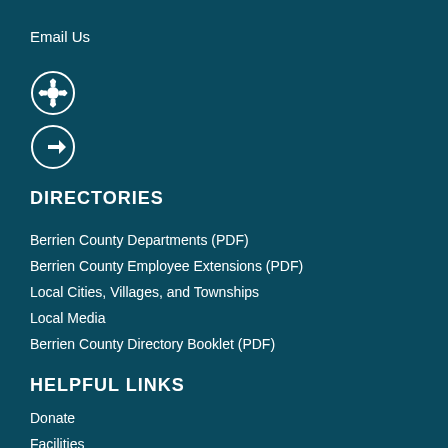Email Us
[Figure (illustration): Two circular icon buttons: a gear/settings icon and a share/forward arrow icon, stacked vertically, with white outlines on dark teal background]
DIRECTORIES
Berrien County Departments (PDF)
Berrien County Employee Extensions (PDF)
Local Cities, Villages, and Townships
Local Media
Berrien County Directory Booklet (PDF)
HELPFUL LINKS
Donate
Facilities